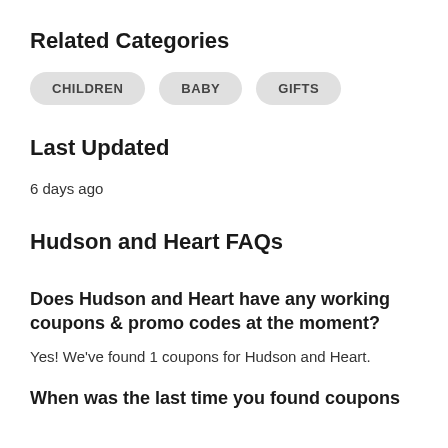Related Categories
CHILDREN
BABY
GIFTS
Last Updated
6 days ago
Hudson and Heart FAQs
Does Hudson and Heart have any working coupons & promo codes at the moment?
Yes! We've found 1 coupons for Hudson and Heart.
When was the last time you found coupons